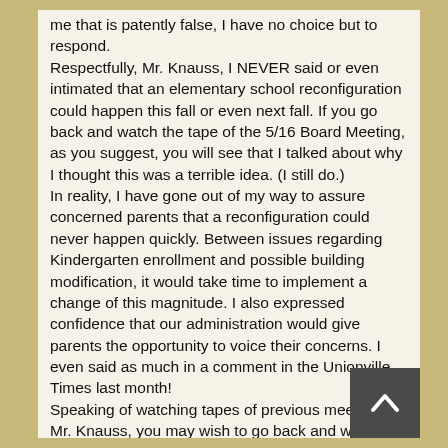me that is patently false, I have no choice but to respond. Respectfully, Mr. Knauss, I NEVER said or even intimated that an elementary school reconfiguration could happen this fall or even next fall. If you go back and watch the tape of the 5/16 Board Meeting, as you suggest, you will see that I talked about why I thought this was a terrible idea. (I still do.) In reality, I have gone out of my way to assure concerned parents that a reconfiguration could never happen quickly. Between issues regarding Kindergarten enrollment and possible building modification, it would take time to implement a change of this magnitude. I also expressed confidence that our administration would give parents the opportunity to voice their concerns. I even said as much in a comment in the Unionville Times last month! Speaking of watching tapes of previous meetings, Mr. Knauss, you may wish to go back and watch the tape of the June meeting yourself. You may recall that at that meeting, I stood up and talked about my respect for you. I said that I certainly disagree with many of your positions, but I respect you for being willing to stand up and fight for what you believe in. That is all I